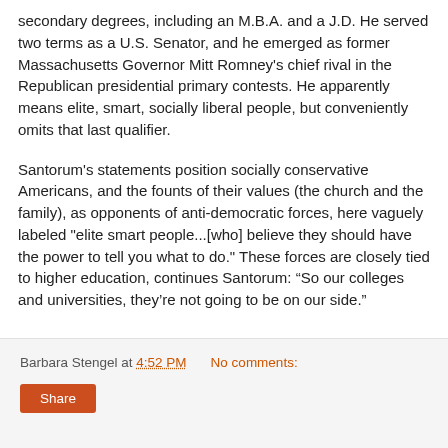secondary degrees, including an M.B.A. and a J.D. He served two terms as a U.S. Senator, and he emerged as former Massachusetts Governor Mitt Romney's chief rival in the Republican presidential primary contests. He apparently means elite, smart, socially liberal people, but conveniently omits that last qualifier.
Santorum's statements position socially conservative Americans, and the founts of their values (the church and the family), as opponents of anti-democratic forces, here vaguely labeled "elite smart people...[who] believe they should have the power to tell you what to do." These forces are closely tied to higher education, continues Santorum: “So our colleges and universities, they’re not going to be on our side.”
Barbara Stengel at 4:52 PM   No comments:   Share